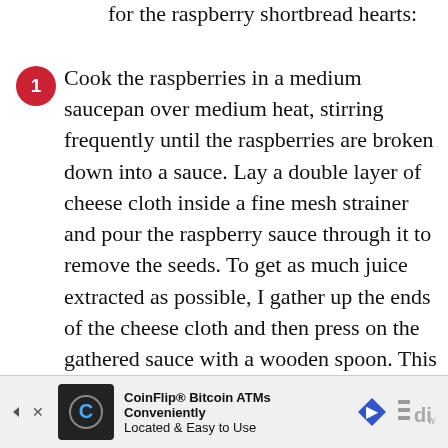for the raspberry shortbread hearts:
Cook the raspberries in a medium saucepan over medium heat, stirring frequently until the raspberries are broken down into a sauce. Lay a double layer of cheese cloth inside a fine mesh strainer and pour the raspberry sauce through it to remove the seeds. To get as much juice extracted as possible, I gather up the ends of the cheese cloth and then press on the gathered sauce with a wooden spoon. This will help to squeeze out the maximum amount of juice. Pour the raspberry juice back into the pot. Discard the cheese cloth
[Figure (other): CoinFlip Bitcoin ATMs advertisement banner with logo and navigation icons]